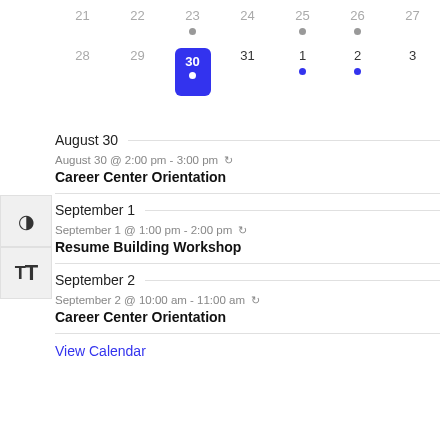[Figure (other): Mini calendar showing weeks with dates 21-27 and 28-3, with 30 highlighted in blue as today, dots on 23, 25, 26 (gray) and 30 (white), 1, 2 (blue)]
August 30
August 30 @ 2:00 pm - 3:00 pm ↻
Career Center Orientation
September 1
September 1 @ 1:00 pm - 2:00 pm ↻
Resume Building Workshop
September 2
September 2 @ 10:00 am - 11:00 am ↻
Career Center Orientation
View Calendar